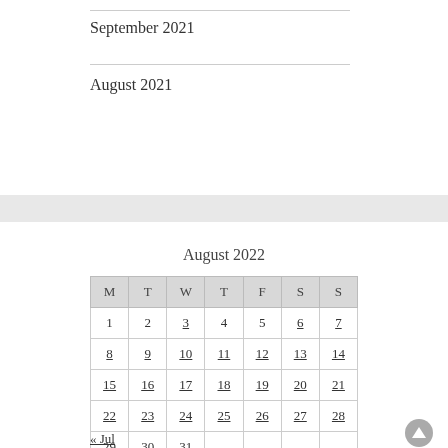September 2021
August 2021
August 2022
| M | T | W | T | F | S | S |
| --- | --- | --- | --- | --- | --- | --- |
| 1 | 2 | 3 | 4 | 5 | 6 | 7 |
| 8 | 9 | 10 | 11 | 12 | 13 | 14 |
| 15 | 16 | 17 | 18 | 19 | 20 | 21 |
| 22 | 23 | 24 | 25 | 26 | 27 | 28 |
| 29 | 30 | 31 |  |  |  |  |
« Jul